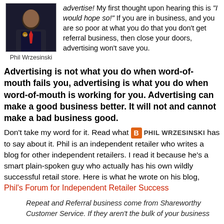[Figure (photo): Photo of Phil Wrzesinski wearing a dark shirt with red tie and a Toy House logo pin]
Phil Wrzesinski
advertise! My first thought upon hearing this is "I would hope so!" If you are in business, and you are so poor at what you do that you don't get referral business, then close your doors, advertising won't save you.
Advertising is not what you do when word-of-mouth fails you, advertising is what you do when word-of-mouth is working for you. Advertising can make a good business better. It will not and cannot make a bad business good.
Don't take my word for it. Read what PHIL WRZESINSKI has to say about it. Phil is an independent retailer who writes a blog for other independent retailers. I read it because he's a smart plain-spoken guy who actually has his own wildly successful retail store. Here is what he wrote on his blog, Phil's Forum for Independent Retailer Success
Repeat and Referral business come from Shareworthy Customer Service. If they aren't the bulk of your business